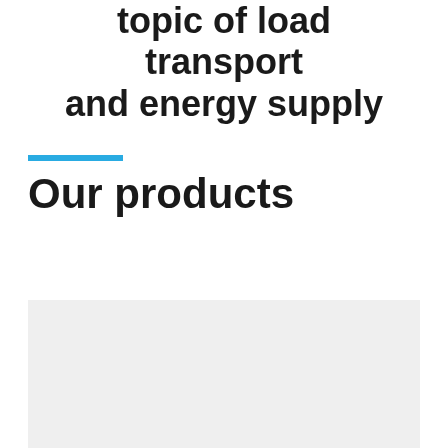topic of load transport and energy supply
Our products
[Figure (photo): Light gray rectangular image placeholder at the bottom of the page]